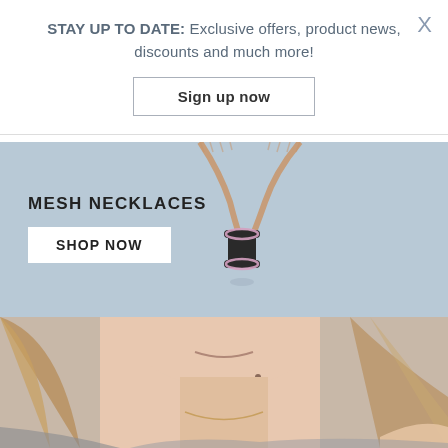STAY UP TO DATE: Exclusive offers, product news, discounts and much more!
Sign up now
[Figure (photo): A rose gold mesh necklace with a black ceramic and diamond-encrusted cylindrical pendant on a light blue-grey background]
MESH NECKLACES
SHOP NOW
[Figure (photo): A close-up of a woman's face and neck with long blonde hair, wearing a thin necklace, cropped to show the lower face and neck area]